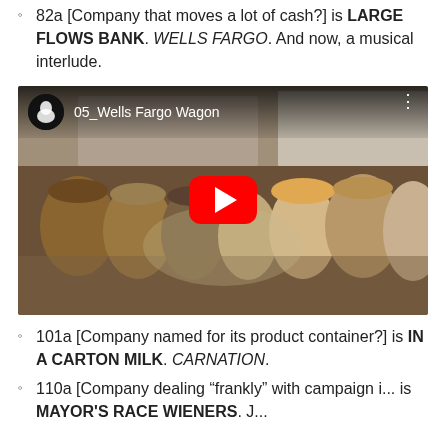82a [Company that moves a lot of cash?] is LARGE FLOWS BANK. WELLS FARGO. And now, a musical interlude.
[Figure (screenshot): YouTube video embed thumbnail showing 05_Wells Fargo Wagon with a crowd of people in period costume, with the red YouTube play button overlay.]
101a [Company named for its product container?] is IN A CARTON MILK. CARNATION.
110a [Company dealing “frankly” with campaign i... is MAYOR'S RACE WIENERS. J...